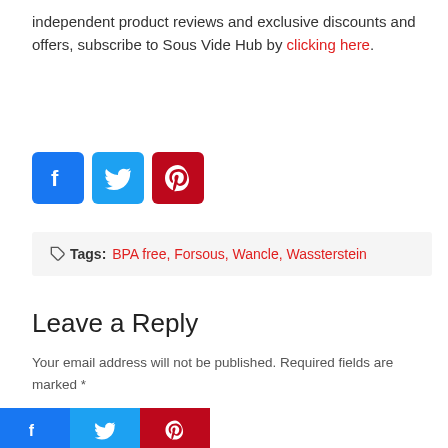independent product reviews and exclusive discounts and offers, subscribe to Sous Vide Hub by clicking here.
[Figure (infographic): Social media share buttons: Facebook (blue), Twitter (light blue), Pinterest (red)]
Tags: BPA free, Forsous, Wancle, Wassterstein
Leave a Reply
Your email address will not be published. Required fields are marked *
[Figure (infographic): Social media share buttons at bottom: Facebook, Twitter, Pinterest with orange bar]